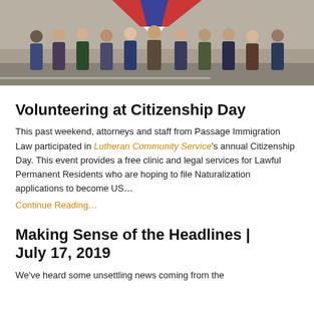[Figure (photo): Group photo of attorneys and staff from Passage Immigration Law at Citizenship Day event, standing together outside holding a decorative banner with patriotic bunting]
Volunteering at Citizenship Day
This past weekend, attorneys and staff from Passage Immigration Law participated in Lutheran Community Service's annual Citizenship Day. This event provides a free clinic and legal services for Lawful Permanent Residents who are hoping to file Naturalization applications to become US...
Continue Reading...
Making Sense of the Headlines | July 17, 2019
We've heard some unsettling news coming from the